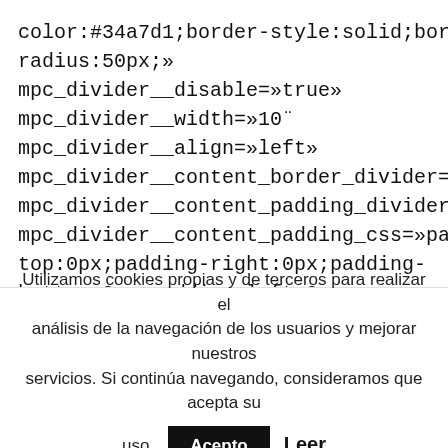color:#34a7d1;border-style:solid;border-radius:50px;»
mpc_divider__disable=»true»
mpc_divider__width=»10"
mpc_divider__align=»left»
mpc_divider__content_border_divider=»true»
mpc_divider__content_padding_divider=»true»
mpc_divider__content_padding_css=»padding-top:0px;padding-right:0px;padding-bottom:0px;padding-left:0px;»
mpc_divider__lines_color=»#dddddd»
Utilizamos cookies propias y de terceros para realizar el análisis de la navegación de los usuarios y mejorar nuestros servicios. Si continúa navegando, consideramos que acepta su uso. Acepto Leer